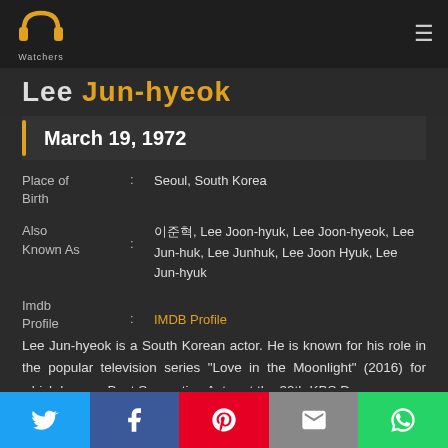PP Watchers
Lee Jun-hyeok
March 19, 1972
| Field | Value |
| --- | --- |
| Place of Birth | Seoul, South Korea |
| Also Known As | 이준혁, Lee Joon-hyuk, Lee Joon-hyeok, Lee Jun-huk, Lee Junhuk, Lee Joon Hyuk, Lee Jun-hyuk |
| Imdb Profile | IMDB Profile |
Lee Jun-hyeok is a South Korean actor. He is known for his role in the popular television series "Love in the Moonlight" (2016) for which he won Best Supporting Actor at the 39th KBS D...